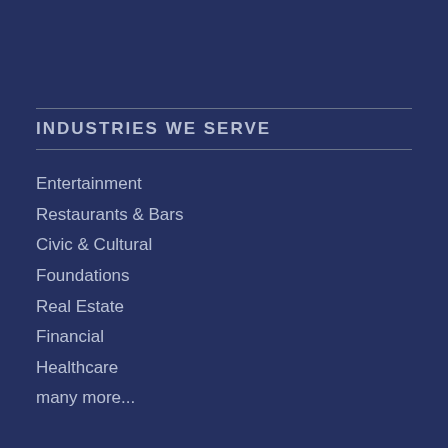INDUSTRIES WE SERVE
Entertainment
Restaurants & Bars
Civic & Cultural
Foundations
Real Estate
Financial
Healthcare
many more...